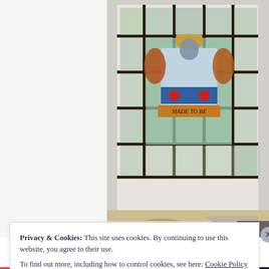[Figure (photo): Photograph of a building entrance featuring a stained glass window with a coat of arms/crest showing figures, a shield with blue and white stripes and red circles, and a banner with text 'MADE TO BE'. Below the window is a white architectural facade with an arched doorway entrance.]
Privacy & Cookies: This site uses cookies. By continuing to use this website, you agree to their use.
To find out more, including how to control cookies, see here: Cookie Policy
Close and accept